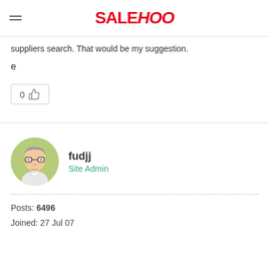SALEHOO
suppliers search. That would be my suggestion.
e
0 👍
fudjj
Site Admin
Posts: 6496
Joined: 27 Jul 07